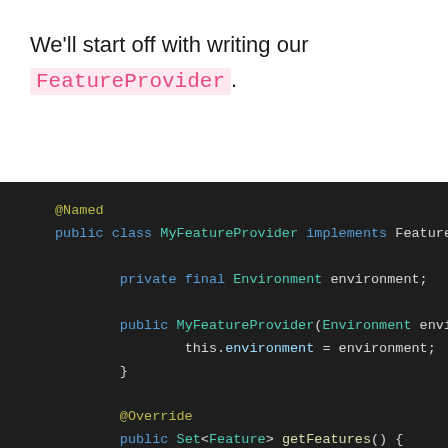We'll start off with writing our FeatureProvider.
[Figure (screenshot): Dark-themed code editor showing a Java class MyFeatureProvider implementing FeatureProvider, with @Named annotation, private final Environment field, constructor, @Override annotation, and getFeatures() method returning a stream of MyFeature values mapped and collected.]